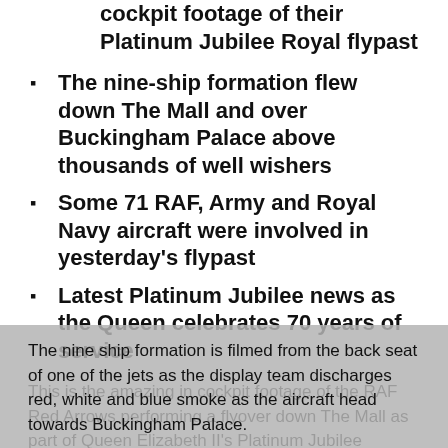cockpit footage of their Platinum Jubilee Royal flypast
The nine-ship formation flew down The Mall and over Buckingham Palace above thousands of well wishers
Some 71 RAF, Army and Royal Navy aircraft were involved in yesterday's flypast
Latest Platinum Jubilee news as the Queen celebrates 70 years of service
This is the amazing in cockpit footage of the RAF Red Arrows performing a flyover down The Mall as part of Queen Elizabeth II's Platinum Jubilee celebrations.
The nine ship formation is filmed from the back seat of one of the jets as the display team discharges red, white and blue smoke as the aircraft head towards Buckingham Palace.
The Queen, members of the Royal Family...